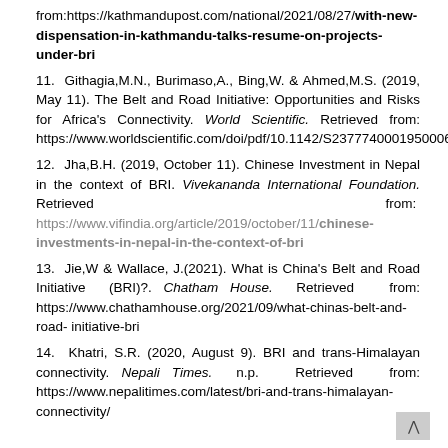from:https://kathmandupost.com/national/2021/08/27/with-new-dispensation-in-kathmandu-talks-resume-on-projects-under-bri
11. Githagia,M.N., Burimaso,A., Bing,W. & Ahmed,M.S. (2019, May 11). The Belt and Road Initiative: Opportunities and Risks for Africa's Connectivity. World Scientific. Retrieved from: https://www.worldscientific.com/doi/pdf/10.1142/S23777400019500064
12. Jha,B.H. (2019, October 11). Chinese Investment in Nepal in the context of BRI. Vivekananda International Foundation. Retrieved from: https://www.vifindia.org/article/2019/october/11/chinese-investments-in-nepal-in-the-context-of-bri
13. Jie,W & Wallace, J.(2021). What is China's Belt and Road Initiative (BRI)?. Chatham House. Retrieved from: https://www.chathamhouse.org/2021/09/what-chinas-belt-and-road- initiative-bri
14. Khatri, S.R. (2020, August 9). BRI and trans-Himalayan connectivity. Nepali Times. n.p. Retrieved from: https://www.nepalitimes.com/latest/bri-and-trans-himalayan-connectivity/